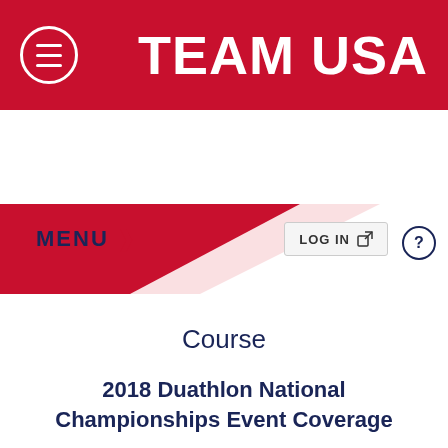[Figure (screenshot): Team USA red header bar with hamburger/menu icon on left and TEAM USA text on right]
USA TRIATHLON
MENU > LOG IN ?
Course
2018 Duathlon National Championships Event Coverage
Registration